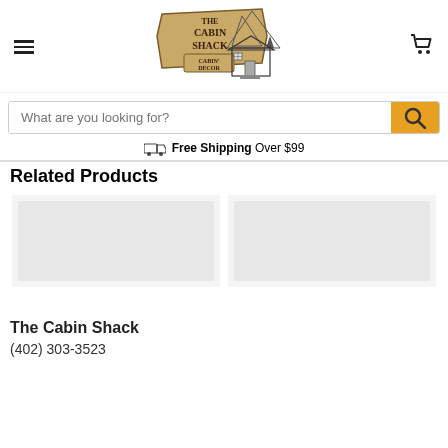The Cabin Shack - Cabin Decor
[Figure (logo): The Cabin Shack logo with wooden sign reading 'THE CABIN SHACK' and 'CABIN DECOR', with an illustration of a log cabin and mountains]
What are you looking for?
Free Shipping Over $99
Related Products
[Figure (photo): Product image placeholder (light gray rectangle)]
[Figure (photo): Product image placeholder (light gray rectangle)]
The Cabin Shack
(402) 303-3523